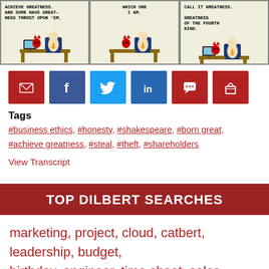[Figure (illustration): Three-panel Dilbert comic strip. Panel 1: speech bubble reads 'ACHIEVE GREATNESS. AND SOME HAVE GREAT-NESS THRUST UPON 'EM.' with Dilbert at desk and red devil character. Panel 2: speech bubble reads 'WHICH ONE I AM.' Panel 3: speech bubble reads 'CALL IT GREATNESS. GREATNESS OF THE FOURTH KIND.']
[Figure (infographic): Row of six social share buttons: email (dark red), Facebook (blue), Twitter (light blue), LinkedIn (blue), comment/chat (dark red), shopping cart (dark red)]
Tags
#business ethics, #honesty, #shakespeare, #born great, #achieve greatness, #steal, #theft, #shareholders
View Transcript
TOP DILBERT SEARCHES
marketing, project, cloud, catbert, leadership, budget, birthday, engineer, time sheet, sales, wally, strategy,